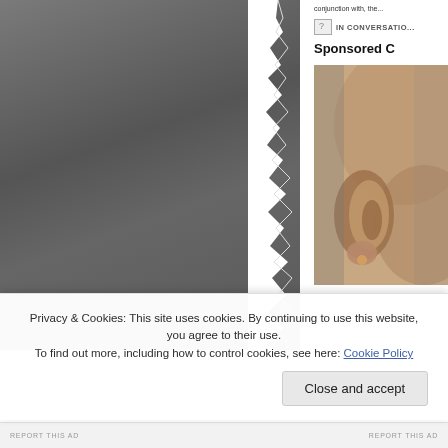[Figure (photo): Dark gray background area on the left, resembling a torn or darkened photographic surface]
[Figure (photo): Close-up photo of a person's ear and side of face with brown skin tone, forming a sidebar image]
IN CONVERSATION
Sponsored C
Privacy & Cookies: This site uses cookies. By continuing to use this website, you agree to their use.
To find out more, including how to control cookies, see here: Cookie Policy
Close and accept
REPORT THIS AD